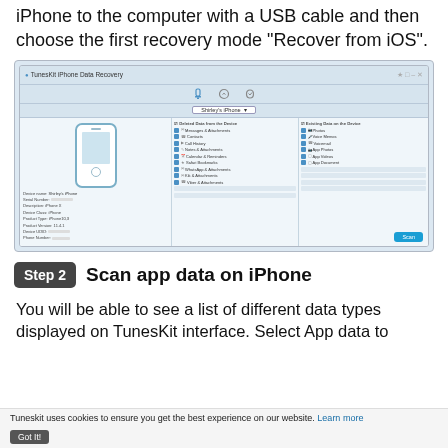iPhone to the computer with a USB cable and then choose the first recovery mode "Recover from iOS".
[Figure (screenshot): TunesKit iPhone Data Recovery application screenshot showing device info panel with iPhone illustration, device details (name, serial, description, class, product type/version, device UDID, phone number, data capacity pie chart), and data type selection checkboxes including Deleted Data from the Device (Messages & Attachments, Contacts, Call History, Notes & Attachments, Calendar & Reminders, Safari Bookmarks, WhatsApp & Attachments, Kik & Attachments, Viber & Attachments) and Existing Data on the Device (Photos, Voice Memos, Voicemail, App Photos, App Videos, App Document), with a Scan button at bottom right.]
Step 2  Scan app data on iPhone
You will be able to see a list of different data types displayed on TunesKit interface. Select App data to
Tuneskit uses cookies to ensure you get the best experience on our website. Learn more  Got It!